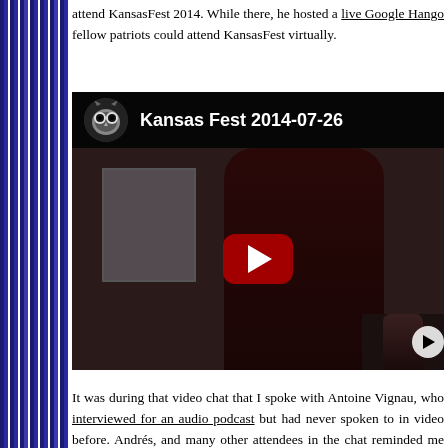attend KansasFest 2014. While there, he hosted a live Google Hangout so fellow patriots could attend KansasFest virtually.
[Figure (screenshot): YouTube video thumbnail showing Kansas Fest 2014-07-26, with an owl icon, dark scene of a person near a window, and a red play button in the center. A small thumbnail is visible in the bottom-right corner.]
It was during that video chat that I spoke with Antoine Vignau, who I interviewed for an audio podcast but had never spoken to in video before. Andrés, and many other attendees in the chat reminded me what a passion Apple II has in France. A few hours later, I emailed Antoine with the proposal: "If you're willing to translate the entire September 2014 issue I'll see about publishing it in French. Just as a one-time special — not ev